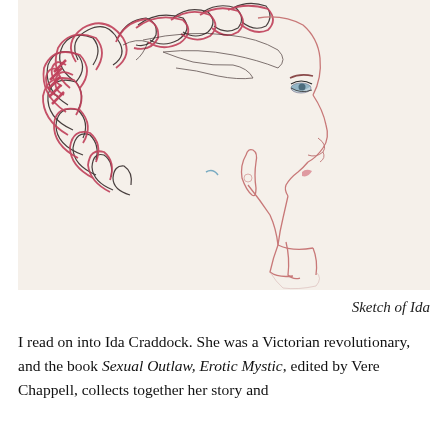[Figure (illustration): A colored pencil sketch portrait of Ida Craddock in profile (facing right), with curly reddish-pink and dark hair adorned with flowers, drawn in a loose artistic style on a cream/off-white background.]
Sketch of Ida
I read on into Ida Craddock. She was a Victorian revolutionary, and the book Sexual Outlaw, Erotic Mystic, edited by Vere Chappell, collects together her story and